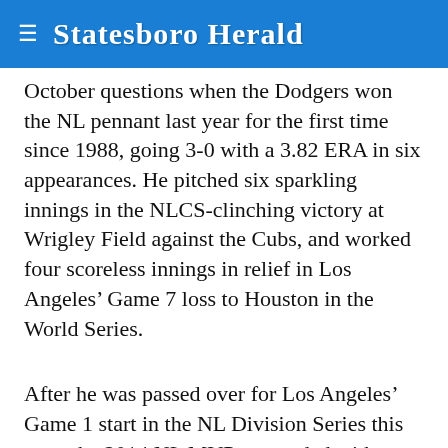Statesboro Herald
October questions when the Dodgers won the NL pennant last year for the first time since 1988, going 3-0 with a 3.82 ERA in six appearances. He pitched six sparkling innings in the NLCS-clinching victory at Wrigley Field against the Cubs, and worked four scoreless innings in relief in Los Angeles’ Game 7 loss to Houston in the World Series.
After he was passed over for Los Angeles’ Game 1 start in the NL Division Series this year, the 2014 NL MVP responded with eight innings of two-hit ball in a 3-0 victory over Atlanta.